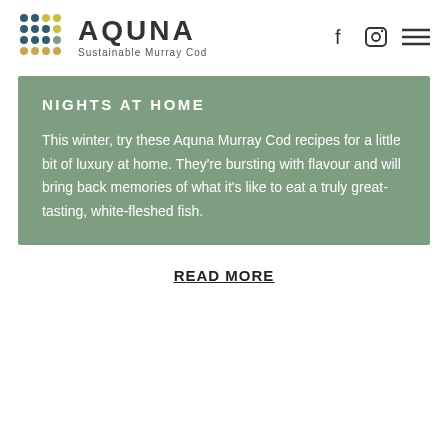AQUNA Sustainable Murray Cod
NIGHTS AT HOME
This winter, try these Aquna Murray Cod recipes for a little bit of luxury at home. They're bursting with flavour and will bring back memories of what it's like to eat a truly great-tasting, white-fleshed fish.
READ MORE